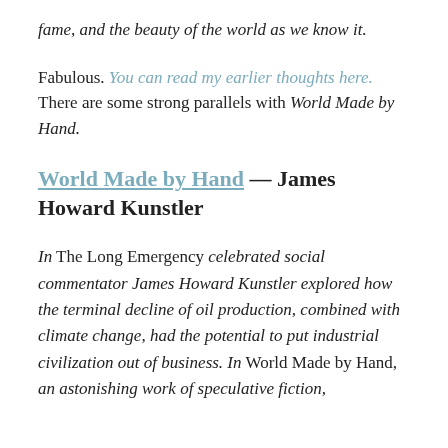fame, and the beauty of the world as we know it.
Fabulous. You can read my earlier thoughts here. There are some strong parallels with World Made by Hand.
World Made by Hand — James Howard Kunstler
In The Long Emergency celebrated social commentator James Howard Kunstler explored how the terminal decline of oil production, combined with climate change, had the potential to put industrial civilization out of business. In World Made by Hand, an astonishing work of speculative fiction,